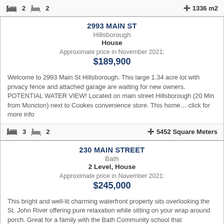2  2  ✛ 1336 m2
2993 MAIN ST
Hillsborough
House
Approximate price in November 2021:
$189,900
Welcome to 2993 Main St Hillsborough. This large 1.34 acre lot with privacy fence and attached garage are waiting for new owners. POTENTIAL WATER VIEW! Located on main street Hillsborough (20 Min from Moncton) next to Cookes convenience store. This home… click for more info
3  2  ✛ 5452 Square Meters
230 MAIN STREET
Bath
2 Level, House
Approximate price in November 2021:
$245,000
This bright and well-lit charming waterfront property sits overlooking the St. John River offering pure relaxation while sitting on your wrap around porch. Great for a family with the Bath Community school that